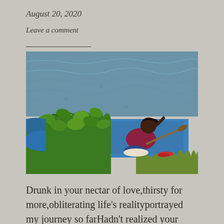August 20, 2020
Leave a comment
[Figure (photo): A person sitting in a blue boat on water, surrounded by lush green plants/vegetation. The boat is near the shore, and the person is seen from behind wearing a dark red/maroon top.]
Drunk in your nectar of love,thirsty for more,obliterating life’s realityportrayed my journey so farHadn’t realized your handholdingwas my reason to bloomAnd now I